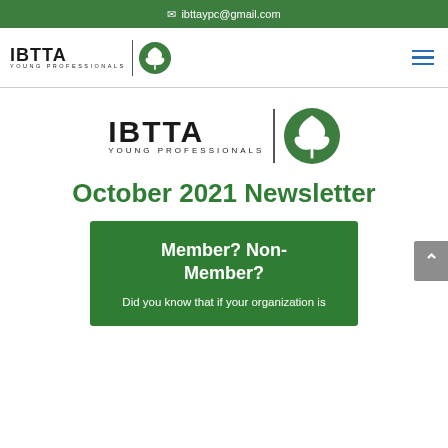✉ ibttaypc@gmail.com
[Figure (logo): IBTTA Young Professionals logo in navigation bar with tree icon]
[Figure (logo): IBTTA Young Professionals centered logo with tree icon]
October 2021 Newsletter
Member? Non-Member?
Did you know that if your organization is